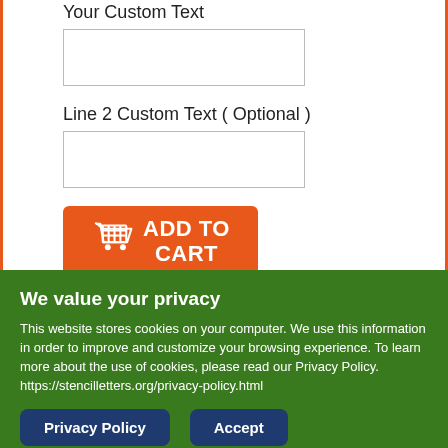Your Custom Text
[Figure (screenshot): Text input box for custom text line 1]
Line 2 Custom Text ( Optional )
[Figure (screenshot): Text input box for custom text line 2]
[Figure (other): Add to Cart button with shopping cart icon]
A preview of your stencil will be sent to your email address to confirm before being cut and shipped.
Please look forward to our email
We value your privacy
This website stores cookies on your computer. We use this information in order to improve and customize your browsing experience. To learn more about the use of cookies, please read our Privacy Policy. https://stencilletters.org/privacy-policy.html
Privacy Policy
Accept